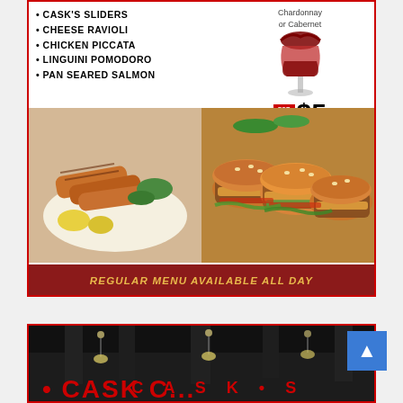• CASK'S SLIDERS
• CHEESE RAVIOLI
• CHICKEN PICCATA
• LINGUINI POMODORO
• PAN SEARED SALMON
Chardonnay or Cabernet FOR ONLY $5
[Figure (photo): Two food photos side by side: grilled chicken dish and sliders/burgers]
REGULAR MENU AVAILABLE ALL DAY
the CASK wine and cheese bar | MONDAY • FRIDAY • 11AM - 3PM | 782 Laurel Street, San Carlos | (650) 610-0438 • thecaskwinebar.com
[Figure (photo): Interior restaurant photo with dark ceiling and partial red signage visible at bottom]